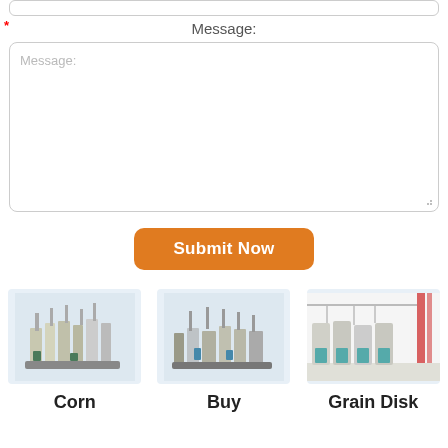*
Message:
Message:
Submit Now
[Figure (photo): Industrial corn/grain milling machine on light blue background]
[Figure (photo): Industrial grain processing/milling equipment on light blue background]
[Figure (photo): Interior of grain disk milling facility with white machinery and red accents]
Corn
Buy
Grain Disk